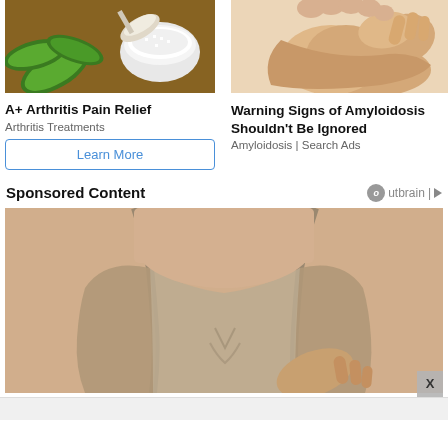[Figure (photo): Aloe vera slices with white cream in a bowl and salt on a wooden surface]
[Figure (photo): Person massaging or touching an ankle/foot area against a plain background]
A+ Arthritis Pain Relief
Arthritis Treatments
Learn More
Warning Signs of Amyloidosis Shouldn't Be Ignored
Amyloidosis | Search Ads
Sponsored Content
[Figure (photo): Person wearing gray tank top showing chest/torso area]